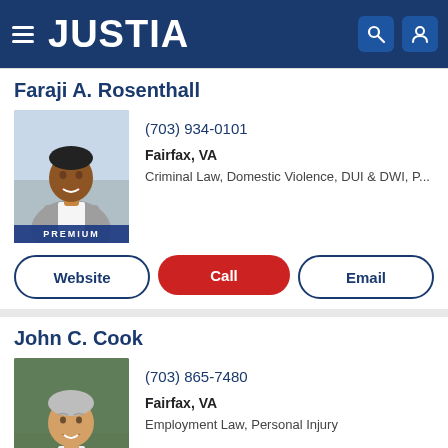JUSTIA
Faraji A. Rosenthall
(703) 934-0101
Fairfax, VA
Criminal Law, Domestic Violence, DUI & DWI, P...
[Figure (photo): Professional headshot of Faraji A. Rosenthall, male attorney, smiling, wearing grey suit, with PREMIUM badge]
Website
Call
Email
John C. Cook
(703) 865-7480
Fairfax, VA
Employment Law, Personal Injury
[Figure (photo): Professional headshot of John C. Cook, older male attorney, smiling, wearing suit and tie, with PREMIUM badge]
Website
Call
Email